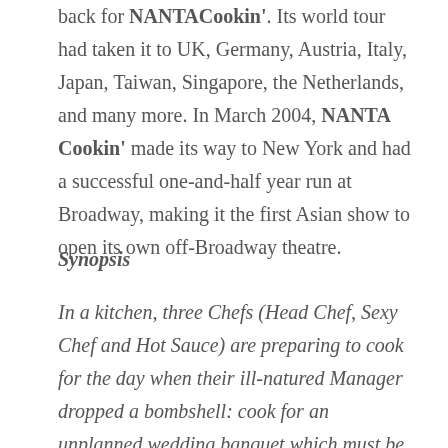back for NANTA Cookin'. Its world tour had taken it to UK, Germany, Austria, Italy, Japan, Taiwan, Singapore, the Netherlands, and many more. In March 2004, NANTA Cookin' made its way to New York and had a successful one-and-half year run at Broadway, making it the first Asian show to open its own off-Broadway theatre.
Synopsis
In a kitchen, three Chefs (Head Chef, Sexy Chef and Hot Sauce) are preparing to cook for the day when their ill-natured Manager dropped a bombshell: cook for an unplanned wedding banquet which must be ready by 6pm AND teach his young and bumbling Nephew how to cook.
When a fish is lost, Manager threatens to dismiss all of...